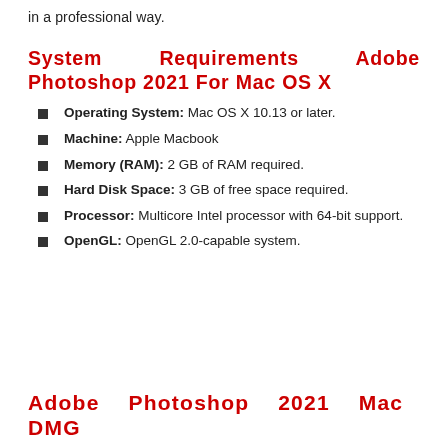in a professional way.
System Requirements Adobe Photoshop 2021 For Mac OS X
Operating System: Mac OS X 10.13 or later.
Machine: Apple Macbook
Memory (RAM): 2 GB of RAM required.
Hard Disk Space: 3 GB of free space required.
Processor: Multicore Intel processor with 64-bit support.
OpenGL: OpenGL 2.0-capable system.
Adobe Photoshop 2021 Mac DMG